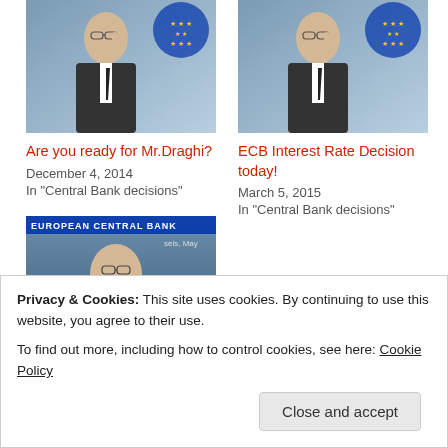[Figure (photo): Photo of Mario Draghi at ECB press conference, gesturing with one finger raised, ECB logo visible in background]
Are you ready for Mr.Draghi?
December 4, 2014
In "Central Bank decisions"
[Figure (photo): Photo of Mario Draghi at ECB press conference, gesturing with one finger raised, ECB logo visible in background]
ECB Interest Rate Decision today!
March 5, 2015
In "Central Bank decisions"
[Figure (photo): Photo of Mario Draghi smiling at European Central Bank press conference in Brussels, May]
ECB, Interest rate decision
December 8, 2016
Privacy & Cookies: This site uses cookies. By continuing to use this website, you agree to their use.
To find out more, including how to control cookies, see here: Cookie Policy